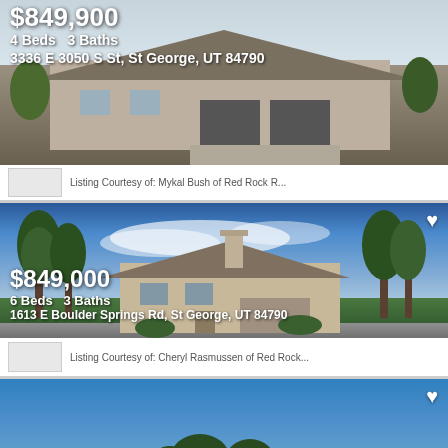[Figure (photo): Exterior photo of modern desert home with tile roof and three-car garage, tan/beige facade, desert landscaping, overcast sky]
$849,900
4 Beds  3 Baths
3336 E 3050 S St, St George, UT 84790
Listing Courtesy of: Mykal Bush of Red Rock R...
[Figure (photo): Exterior photo of ranch-style home with tile roof, chimney, surrounded by mature trees, blue sky with clouds]
$849,000
6 Beds  3 Baths
1613 E Boulder Springs Rd, St George, UT 84790
Listing Courtesy of: Cheryl Rasmussen of Red Rock...
[Figure (photo): Partial photo of third listing showing blue sky and tops of trees]